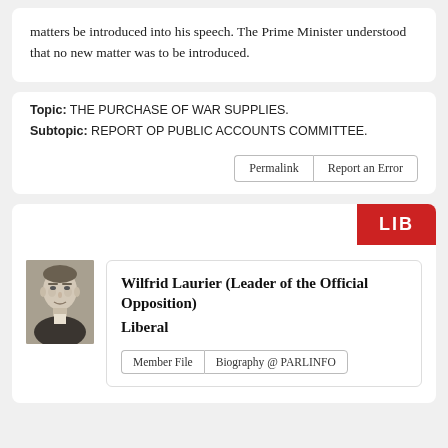matters be introduced into his speech. The Prime Minister understood that no new matter was to be introduced.
Topic:  THE PURCHASE OF WAR SUPPLIES.
Subtopic:  REPORT OP PUBLIC ACCOUNTS COMMITTEE.
[Figure (photo): Black and white portrait photo of Wilfrid Laurier]
Wilfrid Laurier (Leader of the Official Opposition)
Liberal